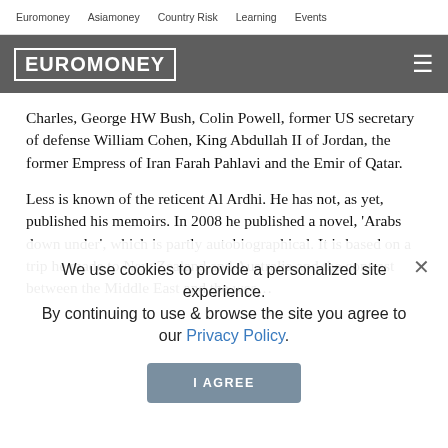Euromoney   Asiamoney   Country Risk   Learning   Events
[Figure (logo): Euromoney logo in white text on dark grey background header bar with hamburger menu icon]
Charles, George HW Bush, Colin Powell, former US secretary of defense William Cohen, King Abdullah II of Jordan, the former Empress of Iran Farah Pahlavi and the Emir of Qatar.
Less is known of the reticent Al Ardhi. He has not, as yet, published his memoirs. In 2008 he published a novel, 'Arabs down under', which is partly autobiographical. It is based on a trip he made to New Zealand and Australia and the contrast between the Middle East and the wes…
We use cookies to provide a personalized site experience.
By continuing to use & browse the site you agree to our Privacy Policy.
Al Ardhi was born in 1… an, the son of the Omani head of customs. When he was eight years old, the family moved to a house near a small airstrip, where a pilot …